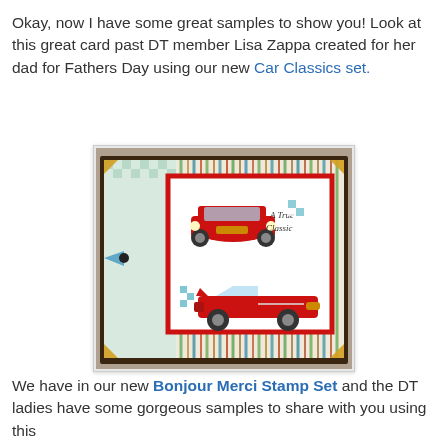Okay, now I have some great samples to show you! Look at this great card past DT member Lisa Zappa created for her dad for Fathers Day using our new Car Classics set.
[Figure (photo): A handmade greeting card featuring two red classic cars (a front-view and a side-view convertible) stamped on white panels with checkered flag accents, the text 'A True Classic', and colorful striped and checkered patterned paper background with gold corner accents.]
We have in our new Bonjour Merci Stamp Set and the DT ladies have some gorgeous samples to share with you using this